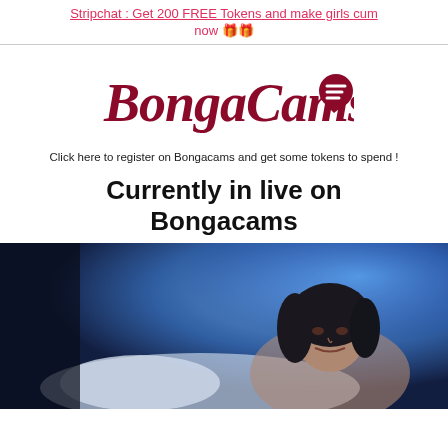Stripchat : Get 200 FREE Tokens and make girls cum now 🎁🎁
[Figure (logo): BongaCams logo in dark red cursive script with a speech bubble icon]
Click here to register on Bongacams and get some tokens to spend !
Currently in live on Bongacams
[Figure (photo): A woman with dark hair lying on a bed in a room with blue/purple ambient lighting]